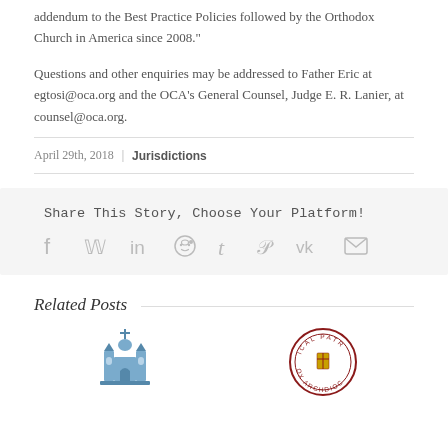addendum to the Best Practice Policies followed by the Orthodox Church in America since 2008."
Questions and other enquiries may be addressed to Father Eric at egtosi@oca.org and the OCA's General Counsel, Judge E. R. Lanier, at counsel@oca.org.
April 29th, 2018  |  Jurisdictions
Share This Story, Choose Your Platform!
[Figure (infographic): Social media sharing icons: facebook, twitter, linkedin, reddit, tumblr, pinterest, vk, email]
Related Posts
[Figure (illustration): Blue church/cathedral silhouette icon]
[Figure (logo): Circular archdiocese logo with red text reading OX ARCHDIOC and ICAL PATR]